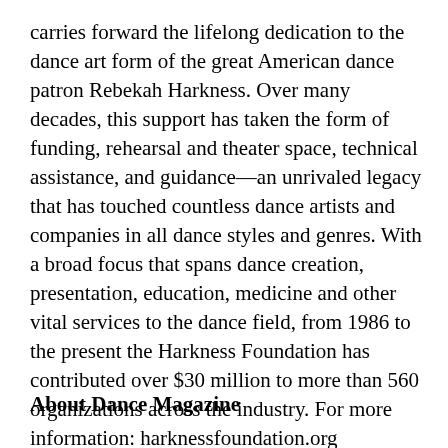carries forward the lifelong dedication to the dance art form of the great American dance patron Rebekah Harkness. Over many decades, this support has taken the form of funding, rehearsal and theater space, technical assistance, and guidance—an unrivaled legacy that has touched countless dance artists and companies in all dance styles and genres. With a broad focus that spans dance creation, presentation, education, medicine and other vital services to the dance field, from 1986 to the present the Harkness Foundation has contributed over $30 million to more than 560 organizations across the industry. For more information: harknessfoundation.org
About Dance Magazine